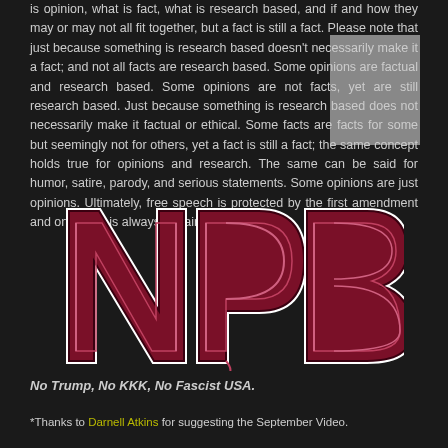is opinion, what is fact, what is research based, and if and how they may or may not all fit together, but a fact is still a fact. Please note that just because something is research based doesn't necessarily make it a fact; and not all facts are research based. Some opinions are factual and research based. Some opinions are not facts, yet are still research based. Just because something is research based does not necessarily make it factual or ethical. Some facts are facts for some but seemingly not for others, yet a fact is still a fact; the same concept holds true for opinions and research. The same can be said for humor, satire, parody, and serious statements. Some opinions are just opinions. Ultimately, free speech is protected by the first amendment and one thing is always certain... Everything Is.
[Figure (logo): NPB logo with decorative dark red/crimson gothic lettering on black background with white outline]
No Trump, No KKK, No Fascist USA.
*Thanks to Darnell Atkins for suggesting the September Video.